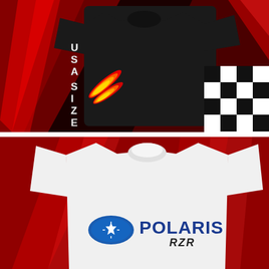[Figure (photo): Black t-shirt displayed against a dramatic red and black racing-themed background with checkered flag pattern on the right and orange/red flame graphics with 'USA SIZE' text vertically on the left side of the shirt]
[Figure (photo): White sweatshirt/crewneck displayed against a red background, featuring the Polaris RZR logo in blue and black with a star emblem]